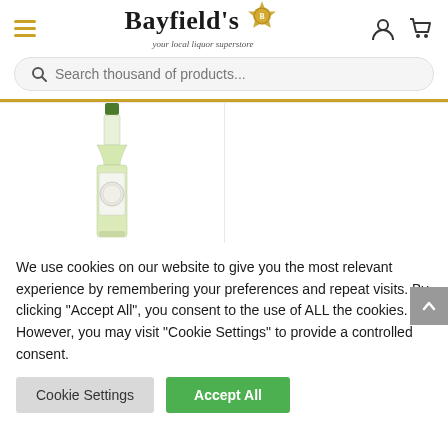[Figure (logo): Bayfield's liquor superstore logo with gold badge emblem, hamburger menu icon in gold, user account icon, and shopping cart icon in header navigation]
Search thousand of products...
[Figure (photo): A green bottle of white wine partially visible in a product grid cell]
We use cookies on our website to give you the most relevant experience by remembering your preferences and repeat visits. By clicking "Accept All", you consent to the use of ALL the cookies. However, you may visit "Cookie Settings" to provide a controlled consent.
Cookie Settings
Accept All